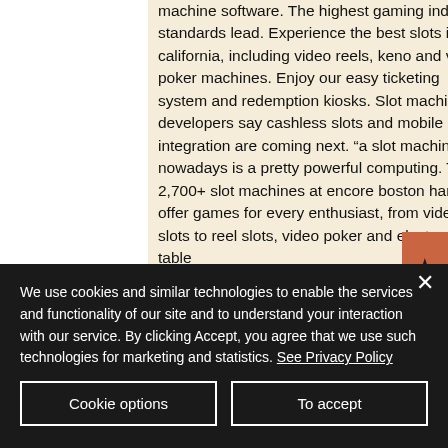machine software. The highest gaming industry standards lead. Experience the best slots in california, including video reels, keno and video poker machines. Enjoy our easy ticketing system and redemption kiosks. Slot machine developers say cashless slots and mobile integration are coming next. “a slot machine nowadays is a pretty powerful computing. The 2,700+ slot machines at encore boston harbor offer games for every enthusiast, from video slots to reel slots, video poker and electronic table
We use cookies and similar technologies to enable the services and functionality of our site and to understand your interaction with our service. By clicking Accept, you agree that we use such technologies for marketing and statistics. See Privacy Policy
Cookie options
To accept